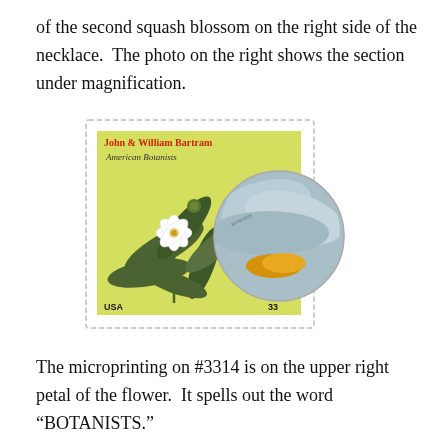of the second squash blossom on the right side of the necklace.  The photo on the right shows the section under magnification.
[Figure (photo): A US postage stamp showing John & William Bartram American Botanists, 33 cents, with a botanical illustration of a white flower and green leaves on a yellow-green background. An overlapping circular magnified view shows a close-up of part of a flower with blue-gray petals and yellow stamens.]
The microprinting on #3314 is on the upper right petal of the flower.  It spells out the word “BOTANISTS.”